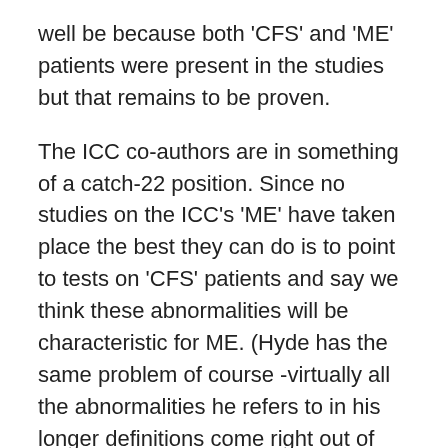well be because both 'CFS' and 'ME' patients were present in the studies but that remains to be proven.
The ICC co-authors are in something of a catch-22 position. Since no studies on the ICC's 'ME' have taken place the best they can do is to point to tests on 'CFS' patients and say we think these abnormalities will be characteristic for ME. (Hyde has the same problem of course -virtually all the abnormalities he refers to in his longer definitions come right out of CFS studies).
Nobody will actually know what abnormalities are present in 'ME' until studies actually start using the ICC definition. The hope, of course, is that once more tightly defined patients are placed in studies, strong, consistent